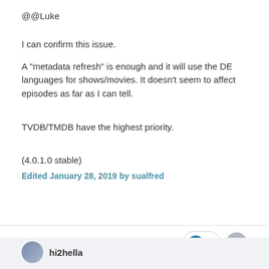@@Luke
I can confirm this issue.
A "metadata refresh" is enough and it will use the DE languages for shows/movies. It doesn't seem to affect episodes as far as I can tell.
TVDB/TMDB have the highest priority.
(4.0.1.0 stable)
Edited January 28, 2019 by sualfred
[Figure (other): Like button with heart icon showing count 1, and an arrow/share button]
hi2hella